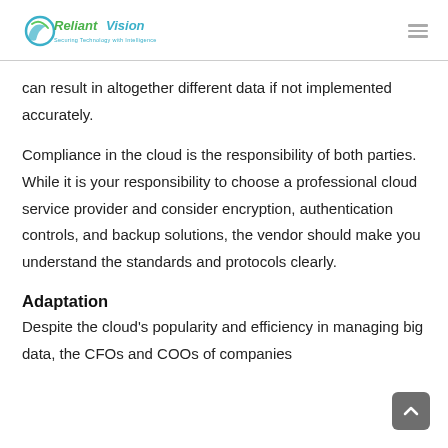ReliantVision — Securing Technology with Intelligence
can result in altogether different data if not implemented accurately.
Compliance in the cloud is the responsibility of both parties. While it is your responsibility to choose a professional cloud service provider and consider encryption, authentication controls, and backup solutions, the vendor should make you understand the standards and protocols clearly.
Adaptation
Despite the cloud's popularity and efficiency in managing big data, the CFOs and COOs of companies